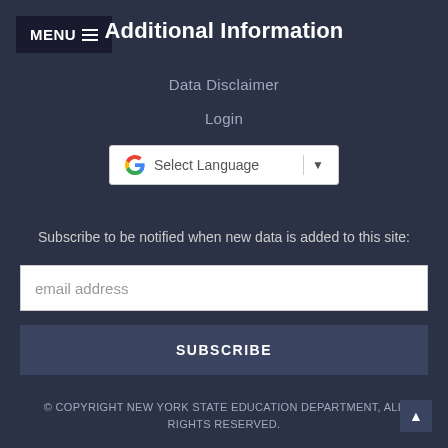MENU ≡
Additional Information
Data Disclaimer
Login
[Figure (other): Google Translate widget showing 'Select Language' with dropdown arrow]
Subscribe to be notified when new data is added to this site:
email address
SUBSCRIBE
© COPYRIGHT NEW YORK STATE EDUCATION DEPARTMENT, ALL RIGHTS RESERVED.